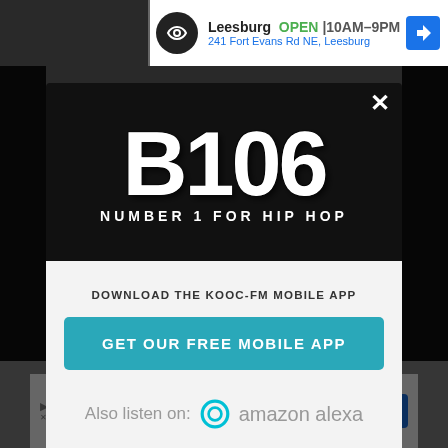[Figure (screenshot): B106 radio station modal popup. Top section has black background with B106 logo and tagline 'NUMBER 1 FOR HIP HOP'. White bottom section shows 'DOWNLOAD THE KOOC-FM MOBILE APP', a teal 'GET OUR FREE MOBILE APP' button, and 'Also listen on: amazon alexa' text with Alexa ring icon. Page has top and bottom advertisement bars for Leesburg store (OPEN 10AM-9PM, 241 Fort Evans Rd NE, Leesburg).]